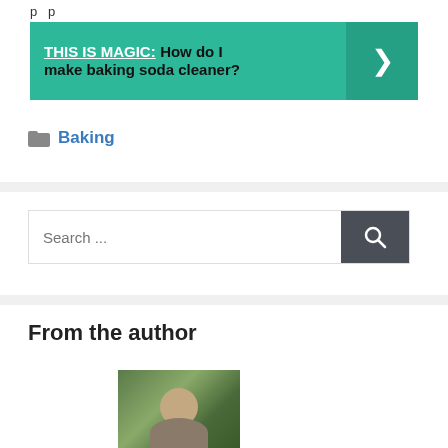p p
[Figure (infographic): Green banner with text 'THIS IS MAGIC: How do I make baking soda cleaner?' and a right-arrow button on a darker green background]
Baking
[Figure (infographic): Search bar with placeholder text 'Search ...' and a dark gray search button with magnifying glass icon]
From the author
[Figure (photo): Partial photo of a person's face, appears to be a man with dark hair, outdoors with green background]